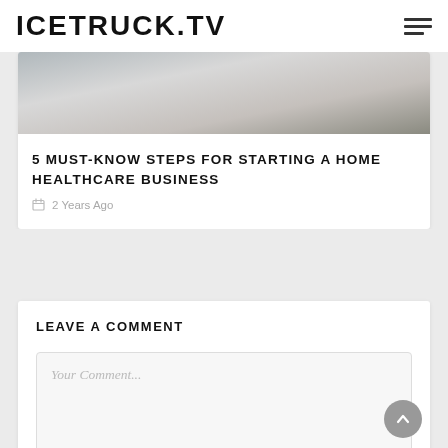ICETRUCK.TV
[Figure (photo): Partial view of a desk with a keyboard, glasses, calculator and cables on a white surface]
5 MUST-KNOW STEPS FOR STARTING A HOME HEALTHCARE BUSINESS
2 Years Ago
LEAVE A COMMENT
Your Comment...